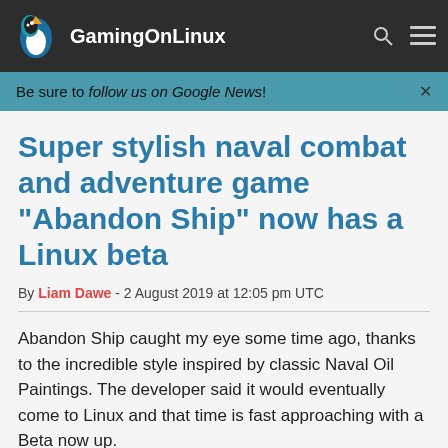GamingOnLinux
Be sure to follow us on Google News!
Super stylish naval combat and adventure game "Abandon Ship" now has a Linux beta
By Liam Dawe - 2 August 2019 at 12:05 pm UTC
Abandon Ship caught my eye some time ago, thanks to the incredible style inspired by classic Naval Oil Paintings. The developer said it would eventually come to Linux and that time is fast approaching with a Beta now up.
Be the Captain. Survive on the Edge in a World with Consequences.
In Abandon Ship you take command of a ship and her